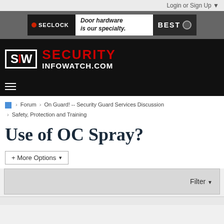Login or Sign Up ▼
[Figure (screenshot): Seclock advertisement banner: SECLOCK logo with red circle, 'Door hardware is our specialty.', BEST logo]
[Figure (logo): SecurityInfoWatch.com logo: SIW box in white border, SECURITY in red, INFOWATCH.COM in white, on black background]
≡ (hamburger menu icon)
🏠 > Forum > On Guard! -- Security Guard Services Discussion > Safety, Protection and Training
Use of OC Spray?
+ More Options ▾
Filter ▼